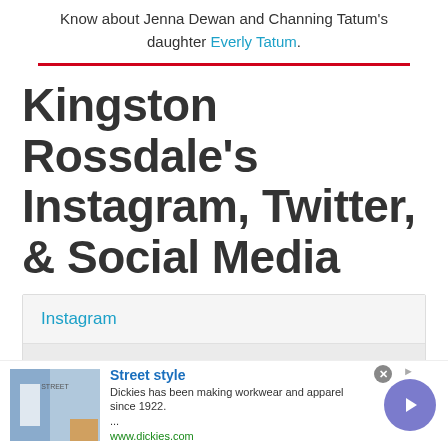Know about Jenna Dewan and Channing Tatum's daughter Everly Tatum.
Kingston Rossdale's Instagram, Twitter, & Social Media
Instagram
Twitter
Facebook FanPage
Wi...
[Figure (screenshot): Advertisement banner: Street style - Dickies has been making workwear and apparel since 1922. www.dickies.com with play/arrow button and ad image]